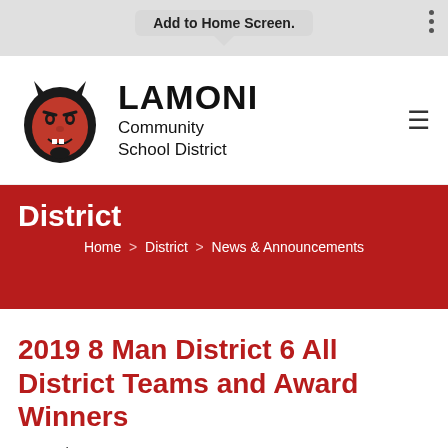Add to Home Screen.
[Figure (logo): Lamoni Community School District logo with devil mascot and school name]
District
Home > District > News & Announcements
2019 8 Man District 6 All District Teams and Award Winners
November 03, 2019